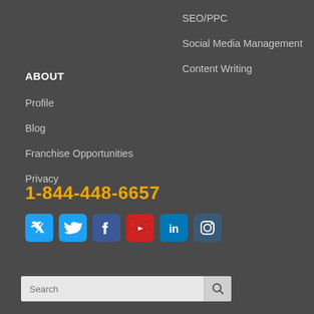SEO/PPC
Social Media Management
Content Writing
ABOUT
Profile
Blog
Franchise Opportunities
Privacy
1-844-448-6657
[Figure (infographic): Social media icons: Twitter, Facebook, YouTube, LinkedIn, Instagram]
Search